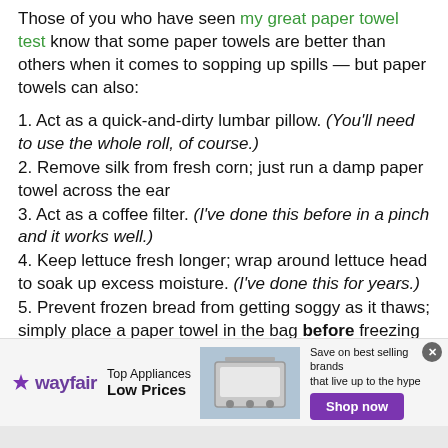Those of you who have seen my great paper towel test know that some paper towels are better than others when it comes to sopping up spills — but paper towels can also:
1. Act as a quick-and-dirty lumbar pillow. (You'll need to use the whole roll, of course.)
2. Remove silk from fresh corn; just run a damp paper towel across the ear
3. Act as a coffee filter. (I've done this before in a pinch and it works well.)
4. Keep lettuce fresh longer; wrap around lettuce head to soak up excess moisture. (I've done this for years.)
5. Prevent frozen bread from getting soggy as it thaws; simply place a paper towel in the bag before freezing
6. Provide temporary sunburn relief; lay a damp towel across affected skin
[Figure (other): Wayfair advertisement banner: Top Appliances Low Prices with stove image and Shop now button]